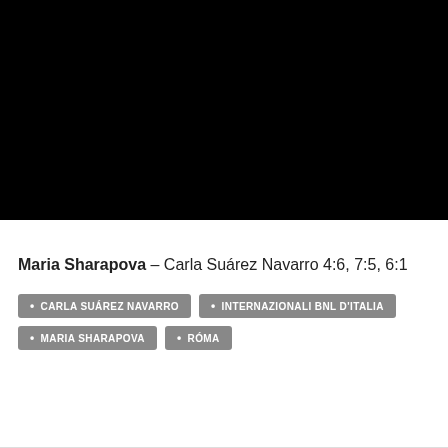[Figure (photo): A black photograph/image area at the top of the page]
Maria Sharapova – Carla Suárez Navarro 4:6, 7:5, 6:1
CARLA SUÁREZ NAVARRO
INTERNAZIONALI BNL D'ITALIA
MARIA SHARAPOVA
RÓMA